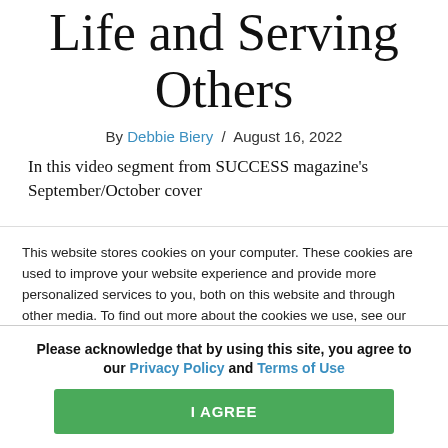Life and Serving Others
By Debbie Biery / August 16, 2022
In this video segment from SUCCESS magazine's September/October cover
This website stores cookies on your computer. These cookies are used to improve your website experience and provide more personalized services to you, both on this website and through other media. To find out more about the cookies we use, see our Privacy Policy.
We won't track your information when you visit our site. But in order to comply with your
Please acknowledge that by using this site, you agree to our Privacy Policy and Terms of Use
I AGREE